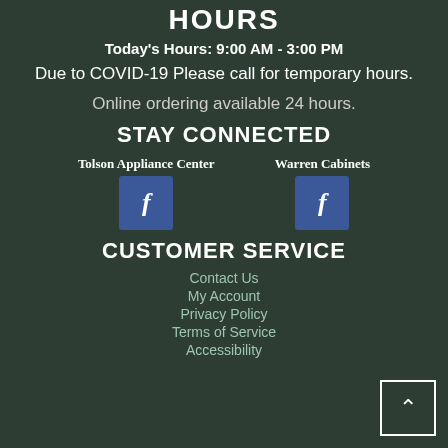HOURS
Today's Hours: 9:00 AM - 3:00 PM
Due to COVID-19 Please call for temporary hours.
Online ordering available 24 hours.
STAY CONNECTED
Tolson Appliance Center   Warren Cabinets
[Figure (infographic): Two Facebook buttons side by side, one for Tolson Appliance Center and one for Warren Cabinets]
CUSTOMER SERVICE
Contact Us
My Account
Privacy Policy
Terms of Service
Accessibility